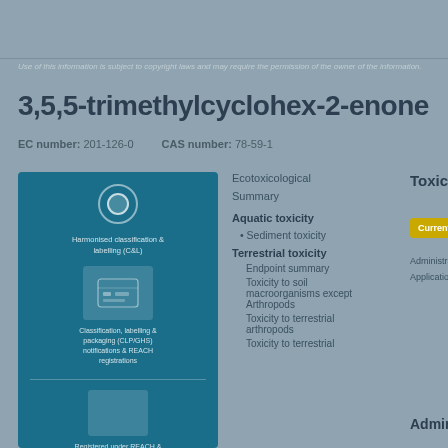Use of this information is subject to copyright laws and may require the permission of the owner of the information.
3,5,5-trimethylcyclohex-2-enone
EC number: 201-126-0    CAS number: 78-59-1
[Figure (infographic): Blue information panel showing harmonised classification & labelling (C&L), CLP/GHS notifications, REACH registrations, and registered under REACH & Assessed sections with icons and structure boxes.]
Ecotoxicological Summary
Aquatic toxicity
Sediment toxicity
Terrestrial toxicity
Endpoint summary
Toxicity to soil macroorganisms except Arthropods
Toxicity to terrestrial arthropods
Toxicity to terrestrial
Toxicity to t
Currently consi
Administration r
Application rout
Administrat